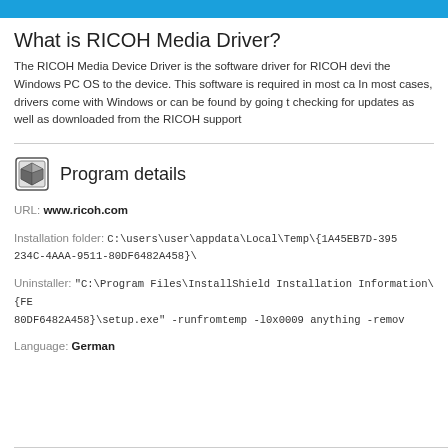What is RICOH Media Driver?
The RICOH Media Device Driver is the software driver for RICOH devi the Windows PC OS to the device. This software is required in most ca In most cases, drivers come with Windows or can be found by going t checking for updates as well as downloaded from the RICOH support
Program details
URL: www.ricoh.com
Installation folder: C:\users\user\appdata\Local\Temp\{1A45EB7D-395 234C-4AAA-9511-80DF6482A458}\
Uninstaller: "C:\Program Files\InstallShield Installation Information\{FE 80DF6482A458}\setup.exe" -runfromtemp -l0x0009 anything -remov
Language: German